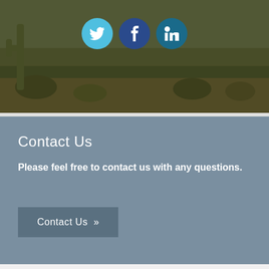[Figure (photo): Aerial desert landscape with cacti and scrubland, with Twitter, Facebook, and LinkedIn social media icons overlaid at the top center]
Contact Us
Please feel free to contact us with any questions.
Contact Us »
Videos
We have interesting videos for you to watch on my site.